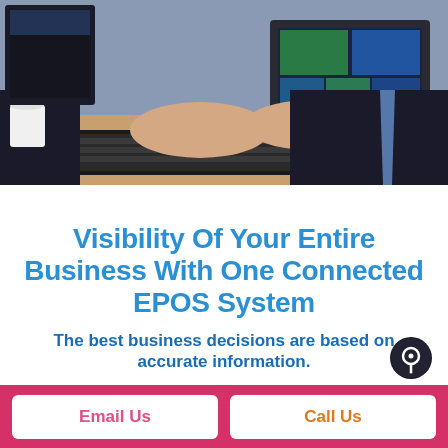[Figure (photo): Person in business suit typing on a laptop keyboard at a desk, with a monitor visible in the background showing colorful screens. Office setting with papers and equipment visible.]
Visibility Of Your Entire Business With One Connected EPOS System
The best business decisions are based on accurate information.
Email Us
Call Us